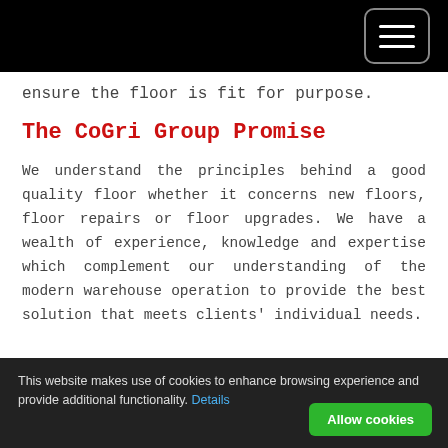[hamburger menu button]
ensure the floor is fit for purpose.
The CoGri Group Promise
We understand the principles behind a good quality floor whether it concerns new floors, floor repairs or floor upgrades. We have a wealth of experience, knowledge and expertise which complement our understanding of the modern warehouse operation to provide the best solution that meets clients' individual needs.
This website makes use of cookies to enhance browsing experience and provide additional functionality. Details  [Allow cookies button]